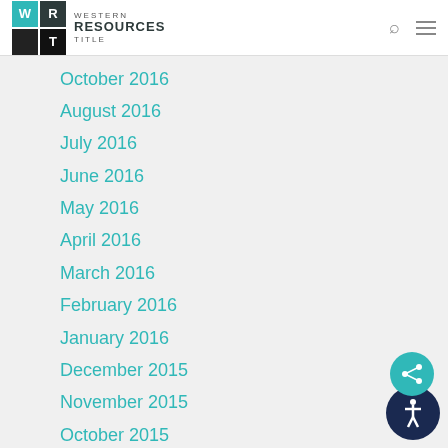Western Resources Title
October 2016
August 2016
July 2016
June 2016
May 2016
April 2016
March 2016
February 2016
January 2016
December 2015
November 2015
October 2015
September 2015